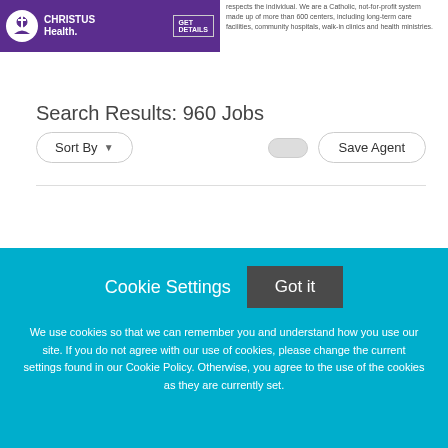[Figure (logo): Christus Health purple logo banner with GET DETAILS button]
respects the individual. We are a Catholic, not-for-profit system made up of more than 600 centers, including long-term care facilities, community hospitals, walk-in clinics and health ministries.
Search Results: 960 Jobs
Sort By  [toggle]  Save Agent
Cookie Settings  Got it  We use cookies so that we can remember you and understand how you use our site. If you do not agree with our use of cookies, please change the current settings found in our Cookie Policy. Otherwise, you agree to the use of the cookies as they are currently set.